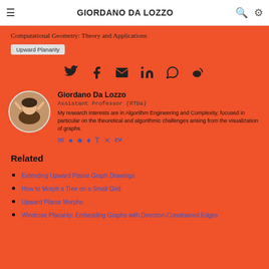GIORDANO DA LOZZO
Computational Geometry: Theory and Applications
Upward Planarity
[Figure (infographic): Social share icons: Twitter, Facebook, Email, LinkedIn, WhatsApp, Weibo]
[Figure (photo): Circular profile photo of Giordano Da Lozzo]
Giordano Da Lozzo
Assistant Professor (RTDa)
My research interests are in Algorithm Engineering and Complexity, focused in particular on the theoretical and algorithmic challenges arising from the visualization of graphs.
[Figure (infographic): Author profile icon links: email, Google Scholar, DBLP, and other academic profile icons]
Related
Extending Upward Planar Graph Drawings
How to Morph a Tree on a Small Grid
Upward Planar Morphs
Windrose Planarity: Embedding Graphs with Direction-Constrained Edges